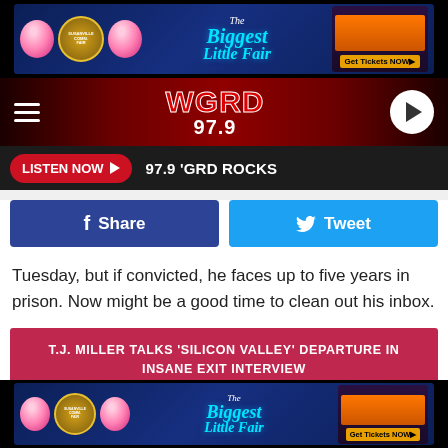[Figure (screenshot): Biggest Little Fair banner advertisement with cotton candy graphics and dark blue background]
[Figure (logo): WGRD 97.9 radio station logo on dark red navigation bar with hamburger menu and play button]
LISTEN NOW ▶  97.9 'GRD ROCKS
[Figure (infographic): Facebook Share and Twitter Tweet social sharing buttons]
Tuesday, but if convicted, he faces up to five years in prison. Now might be a good time to clean out his inbox.
T.J. MILLER TALKS 'SILICON VALLEY' DEPARTURE IN INSANE EXIT INTERVIEW
SCREENCRUSH Source: T.J. Miller's Voicemail Recording Is, Uh, Super Bizarre
[Figure (screenshot): Biggest Little Fair banner advertisement repeated at bottom]